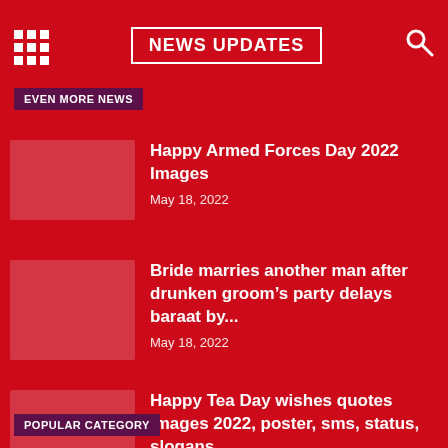NEWS UPDATES
EVEN MORE NEWS
Happy Armed Forces Day 2022 Images
May 18, 2022
Bride marries another man after drunken groom’s party delays baraat by...
May 18, 2022
Happy Tea Day wishes quotes images 2022, poster, sms, status, slogans
May 18, 2022
POPULAR CATEGORY